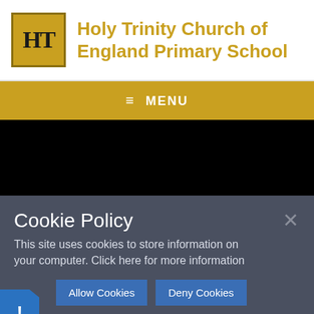[Figure (logo): Holy Trinity Church of England Primary School logo with gold square containing HT monogram in serif font, next to school name in gold text]
Holy Trinity Church of England Primary School
≡ MENU
[Figure (photo): Dark/black hero image area]
Cookie Policy
This site uses cookies to store information on your computer. Click here for more information
Allow Cookies   Deny Cookies